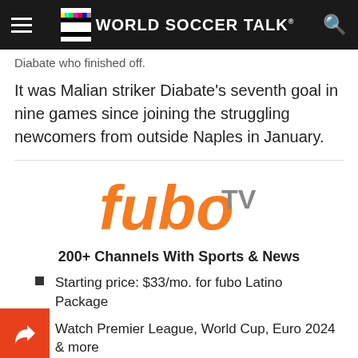World Soccer Talk
Diabate who finished off.
It was Malian striker Diabate's seventh goal in nine games since joining the struggling newcomers from outside Naples in January.
[Figure (logo): fuboTV logo in orange and grey]
200+ Channels With Sports & News
Starting price: $33/mo. for fubo Latino Package
Watch Premier League, World Cup, Euro 2024 & more